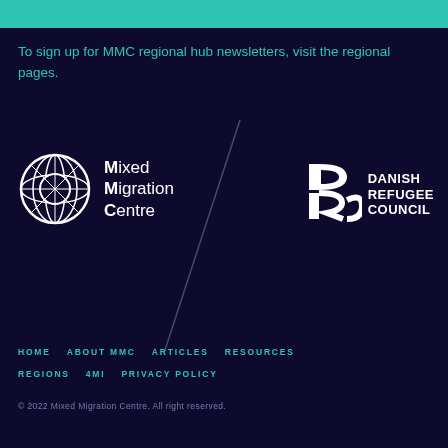To sign up for MMC regional hub newsletters, visit the regional pages.
[Figure (logo): Mixed Migration Centre (MMC) logo with geometric globe icon and text 'Mixed Migration Centre']
[Figure (logo): DRC Danish Refugee Council logo with stylized DRC letters and text 'DANISH REFUGEE COUNCIL']
HOME   ABOUT MMC   ARTICLES   RESOURCES   REGIONS   4MI   PRIVACY POLICY
© 2022 Mixed Migration Centre. All right reserved.